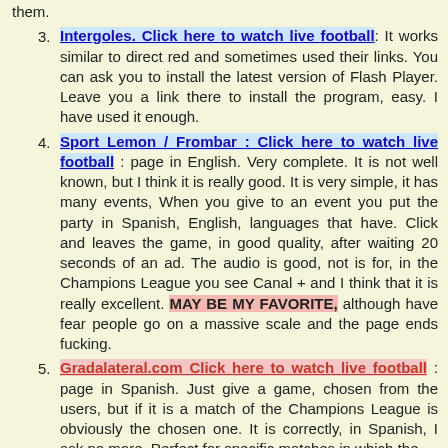them.
3. Intergoles. Click here to watch live football: It works similar to direct red and sometimes used their links. You can ask you to install the latest version of Flash Player. Leave you a link there to install the program, easy. I have used it enough.
4. Sport Lemon / Frombar : Click here to watch live football : page in English. Very complete. It is not well known, but I think it is really good. It is very simple, it has many events, When you give to an event you put the party in Spanish, English, languages that have. Click and leaves the game, in good quality, after waiting 20 seconds of an ad. The audio is good, not is for, in the Champions League you see Canal + and I think that it is really excellent. MAY BE MY FAVORITE, although have fear people go on a massive scale and the page ends fucking.
5. Gradalateral.com Click here to watch live football : page in Spanish. Just give a game, chosen from the users, but if it is a match of the Champions League is obviously the chosen one. It is correctly, in Spanish, I ask no more. Perfect for specific matches in which the